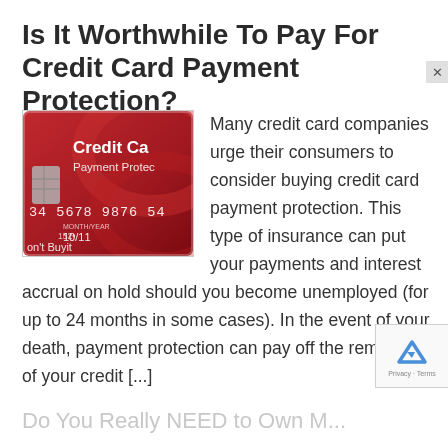Is It Worthwhile To Pay For Credit Card Payment Protection?
[Figure (illustration): A red credit card with white text reading 'Credit Ca[rd] Payment Protec[tion]' with partially visible card number '34 5678 9876 54[x]', expiry '10/11', and text 'on't Buyit']
Many credit card companies urge their consumers to consider buying credit card payment protection.  This type of insurance can put your payments and interest accrual on hold should you become unemployed (for up to 24 months in some cases).  In the event of your death, payment protection can pay off the remainder of your credit [...]
Do You Really NEED to Own M...